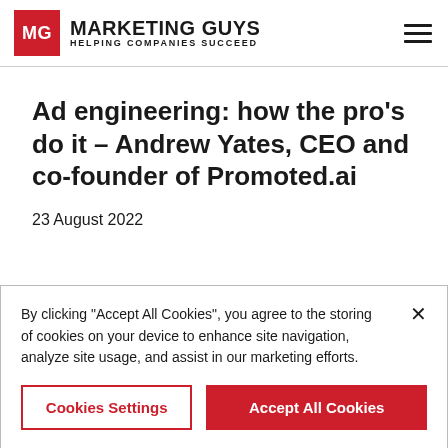MG MARKETING GUYS HELPING COMPANIES SUCCEED
Ad engineering: how the pro's do it – Andrew Yates, CEO and co-founder of Promoted.ai
23 August 2022
By clicking "Accept All Cookies", you agree to the storing of cookies on your device to enhance site navigation, analyze site usage, and assist in our marketing efforts.
Cookies Settings | Accept All Cookies